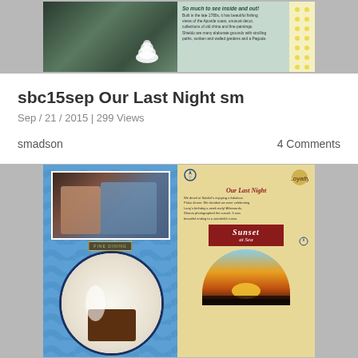[Figure (photo): Scrapbook page with green background showing a historic house exterior photo on the left, a white shell decoration, and a text journaling block on the right with italic heading 'So much to see inside and out!' and a decorative dotted border on the far right.]
sbc15sep Our Last Night sm
Sep / 21 / 2015 | 299 Views
smadson
4 Comments
[Figure (photo): Scrapbook page with blue wave background. Left side: photo of couple dining, circular photo of dessert with 'Fine Dining' label. Right side: cream/tan background with 'Our Last Night' title text, journaling text, 'Sunset at Sea' red badge, and sunset over ocean photo.]